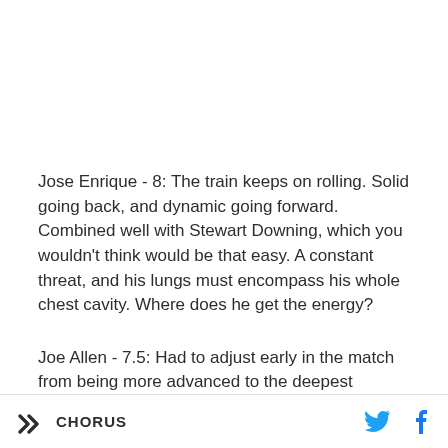Jose Enrique - 8: The train keeps on rolling. Solid going back, and dynamic going forward. Combined well with Stewart Downing, which you wouldn't think would be that easy. A constant threat, and his lungs must encompass his whole chest cavity. Where does he get the energy?
Joe Allen - 7.5: Had to adjust early in the match from being more advanced to the deepest midfielder role
CHORUS